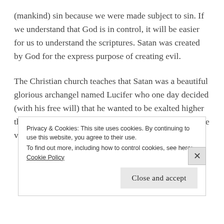(mankind) sin because we were made subject to sin. If we understand that God is in control, it will be easier for us to understand the scriptures. Satan was created by God for the express purpose of creating evil.
The Christian church teaches that Satan was a beautiful glorious archangel named Lucifer who one day decided (with his free will) that he wanted to be exalted higher than God and was kicked out of heaven. They cite these verses to justify this claim;
Privacy & Cookies: This site uses cookies. By continuing to use this website, you agree to their use. To find out more, including how to control cookies, see here: Cookie Policy